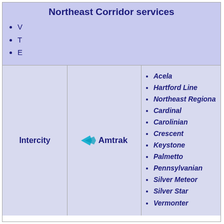Northeast Corridor services
V
T
E
| Intercity | Amtrak | Services |
| --- | --- | --- |
| Intercity | Amtrak | Acela
Hartford Line
Northeast Regional
Cardinal
Carolinian
Crescent
Keystone
Palmetto
Pennsylvanian
Silver Meteor
Silver Star
Vermonter |